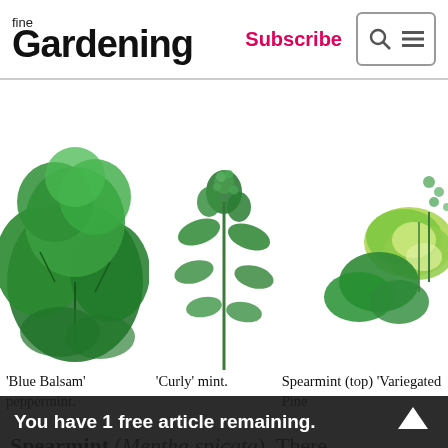fine Gardening | Subscribe
[Figure (photo): Herb plant images: 'Blue Balsam' peppermint (left), 'Curly' mint (center), Spearmint top and 'Variegated Pine' (right)]
'Blue Balsam' peppermint.
'Curly' mint.
Spearmint (top) 'Variegated Pine
Spearmint (Mentha spicata). There are many kinds of spearmints; most have hairy leaves that are
You have 1 free article remaining.